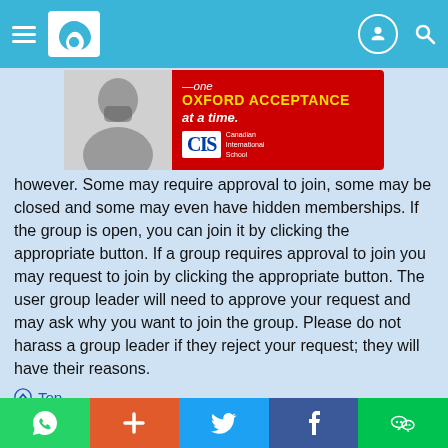Navigation bar with hamburger menu, logo, profile icon, and search icon
[Figure (photo): Advertisement banner: One Oxford Acceptance at a time - CIS Canadian International School]
however. Some may require approval to join, some may be closed and some may even have hidden memberships. If the group is open, you can join it by clicking the appropriate button. If a group requires approval to join you may request to join by clicking the appropriate button. The user group leader will need to approve your request and may ask why you want to join the group. Please do not harass a group leader if they reject your request; they will have their reasons.
⬆ Top
How do I become a usergroup leader?
A usergroup leader is usually assigned when usergroups are initially created by a board administrator. If you are interested in creating a usergroup, your first point of contact should be an administrator; try sending a private message.
Social share bar: WhatsApp, Plus, Twitter, Facebook, WeChat